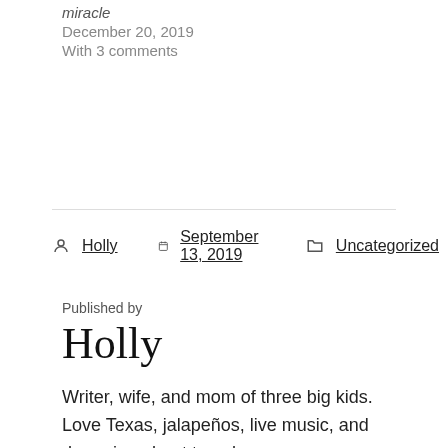miracle
December 20, 2019
With 3 comments
Holly   September 13, 2019   Uncategorized
Published by
Holly
Writer, wife, and mom of three big kids. Love Texas, jalapeños, live music, and dreaming about travel.